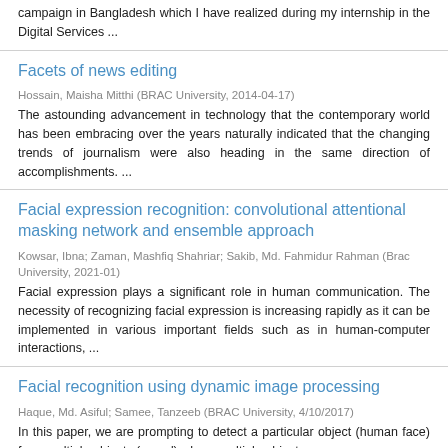campaign in Bangladesh which I have realized during my internship in the Digital Services ...
Facets of news editing
Hossain, Maisha Mitthi (BRAC University, 2014-04-17)
The astounding advancement in technology that the contemporary world has been embracing over the years naturally indicated that the changing trends of journalism were also heading in the same direction of accomplishments. ...
Facial expression recognition: convolutional attentional masking network and ensemble approach
Kowsar, Ibna; Zaman, Mashfiq Shahriar; Sakib, Md. Fahmidur Rahman (Brac University, 2021-01)
Facial expression plays a significant role in human communication. The necessity of recognizing facial expression is increasing rapidly as it can be implemented in various important fields such as in human-computer interactions, ...
Facial recognition using dynamic image processing
Haque, Md. Asiful; Samee, Tanzeeb (BRAC University, 4/10/2017)
In this paper, we are prompting to detect a particular object (human face) from multiple objects (crowd) where multiple objects are